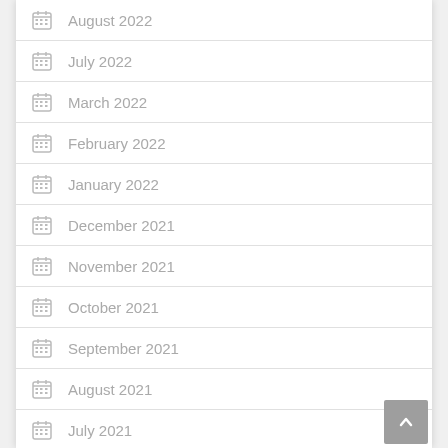August 2022
July 2022
March 2022
February 2022
January 2022
December 2021
November 2021
October 2021
September 2021
August 2021
July 2021